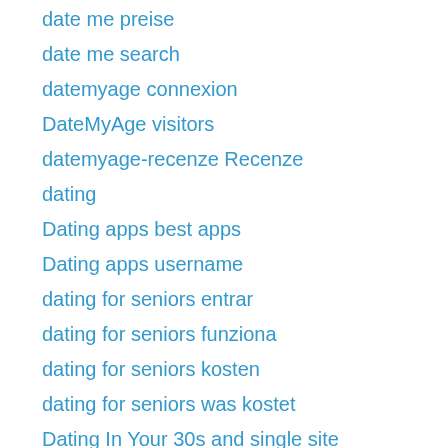date me preise
date me search
datemyage connexion
DateMyAge visitors
datemyage-recenze Recenze
dating
Dating apps best apps
Dating apps username
dating for seniors entrar
dating for seniors funziona
dating for seniors kosten
dating for seniors was kostet
Dating In Your 30s and single site
Dating In Your 30s app
Dating In Your 40s best sites